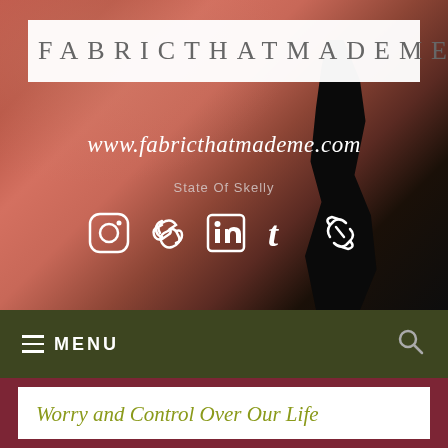[Figure (screenshot): Website header with hero background image showing a sunset silhouette, logo box, website URL, subtitle, and social media icons]
FABRICTHATMADEME
www.fabricthatmademe.com
State Of Skelly
[Figure (infographic): Social media icons: Instagram, chain link, LinkedIn, Tumblr, chain link]
≡ MENU
Worry and Control Over Our Life